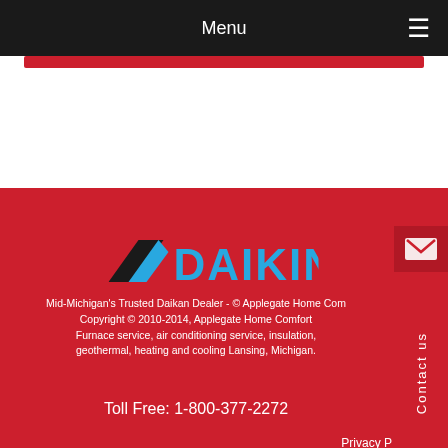Menu
[Figure (logo): Daikin logo with blue text and black/blue chevron mark]
Mid-Michigan's Trusted Daikan Dealer - © Applegate Home Com
Copyright © 2010-2014, Applegate Home Comfort
Furnace service, air conditioning service, insulation,
geothermal, heating and cooling Lansing, Michigan.
Toll Free: 1-800-377-2272
Privacy P
Follow us on
[Figure (illustration): Facebook icon button (blue rounded square with white f)]
Contact us